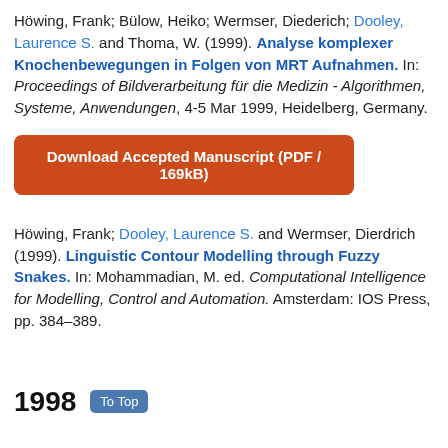Höwing, Frank; Bülow, Heiko; Wermser, Diederich; Dooley, Laurence S. and Thoma, W. (1999). Analyse komplexer Knochenbewegungen in Folgen von MRT Aufnahmen. In: Proceedings of Bildverarbeitung für die Medizin - Algorithmen, Systeme, Anwendungen, 4-5 Mar 1999, Heidelberg, Germany.
Download Accepted Manuscript (PDF / 169kB)
Höwing, Frank; Dooley, Laurence S. and Wermser, Dierdrich (1999). Linguistic Contour Modelling through Fuzzy Snakes. In: Mohammadian, M. ed. Computational Intelligence for Modelling, Control and Automation. Amsterdam: IOS Press, pp. 384–389.
1998   To Top